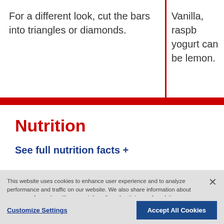For a different look, cut the bars into triangles or diamonds.
Vanilla, raspberry yogurt can be lemon.
Nutrition
See full nutrition facts +
This website uses cookies to enhance user experience and to analyze performance and traffic on our website. We also share information about your use of our site with our social media, advertising and analytics partners. Link to Cookie Policy
Customize Settings
Accept All Cookies